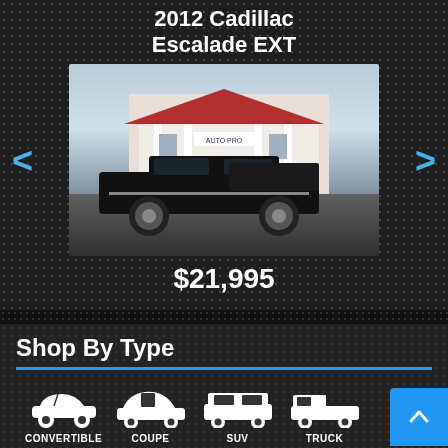2012 Cadillac Escalade EXT
[Figure (photo): Black 2012 Cadillac Escalade EXT parked in front of an Auto Pro dealership building with white columns and red roof accents.]
$21,995
Shop By Type
[Figure (infographic): Four vehicle type icons: Convertible, Coupe, SUV, Truck]
Text Us